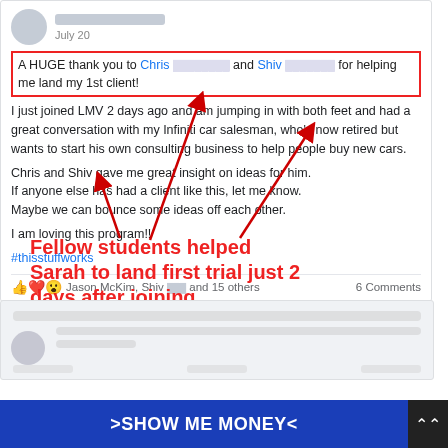July 20
A HUGE thank you to Chris [redacted] and Shiv [redacted] for helping me land my 1st client!
I just joined LMV 2 days ago and am jumping in with both feet and had a great conversation with my Infiniti car salesman, who's now retired but wants to start his own consulting business to help people buy new cars.

Chris and Shiv gave me great insight on ideas for him.
If anyone else has had a client like this, let me know.
Maybe we can bounce some ideas off each other.

I am loving this program!!
#thisstuffworks
Jason McKim, Shiv [redacted] and 15 others   6 Comments
[Figure (infographic): Red arrows pointing to highlighted text in Facebook post, with annotation text in red bold: 'Fellow students helped Sarah to land first trial just 2 days after joining']
Fellow students helped Sarah to land first trial just 2 days after joining
>SHOW ME MONEY<